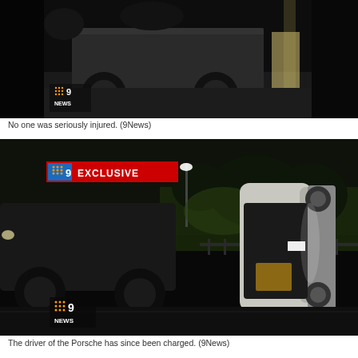[Figure (photo): Night-time photo of a dark SUV crashed/stationary near trees and a fence, with a 9News logo in the bottom-left corner of the image.]
No one was seriously injured. (9News)
[Figure (photo): Night-time photo of a white vehicle rolled onto its side on a road, with another dark SUV visible to the left, a 9News EXCLUSIVE badge in the top-left corner and a 9News logo in the bottom-left corner.]
The driver of the Porsche has since been charged. (9News)